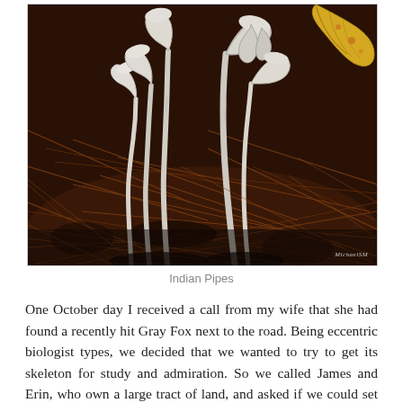[Figure (photo): Close-up photograph of Indian Pipes (Monotropa uniflora), white ghost-like parasitic plants emerging from a forest floor covered with pine needles and fallen leaves. A yellow autumn leaf is visible in the upper right. Watermark reading 'MichaelSM' visible in lower right corner.]
Indian Pipes
One October day I received a call from my wife that she had found a recently hit Gray Fox next to the road. Being eccentric biologist types, we decided that we wanted to try to get its skeleton for study and admiration. So we called James and Erin, who own a large tract of land, and asked if we could set it out there to decompose. Being a couple of biologists themselves, they gladly agreed and we loaded the fox carcass in the bed of my truck and set out on the half-hour or so journey to their